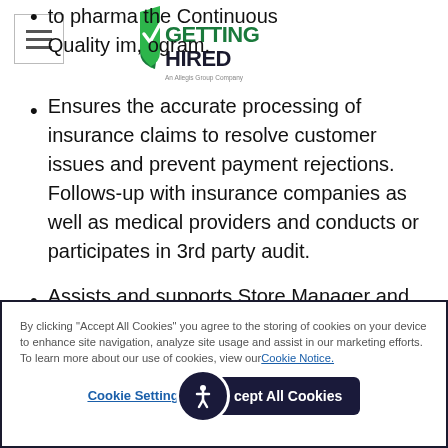[Figure (logo): Getting Hired logo - An Allegis Group Company]
to pharma... the Continuous Quality im... ogram.
Ensures the accurate processing of insurance claims to resolve customer issues and prevent payment rejections. Follows-up with insurance companies as well as medical providers and conducts or participates in 3rd party audit.
Assists and supports Store Manager and
By clicking "Accept All Cookies" you agree to the storing of cookies on your device to enhance site navigation, analyze site usage and assist in our marketing efforts. To learn more about our use of cookies, view our Cookie Notice.
Cookie Settings | Accept All Cookies